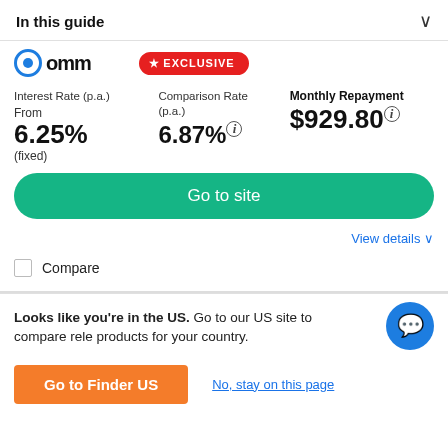In this guide
[Figure (logo): omm logo with blue circle and bold text]
EXCLUSIVE
Interest Rate (p.a.)
From
6.25%
(fixed)
Comparison Rate (p.a.)
6.87%
Monthly Repayment
$929.80
Go to site
View details
Compare
Looks like you're in the US. Go to our US site to compare rele products for your country.
Go to Finder US
No, stay on this page